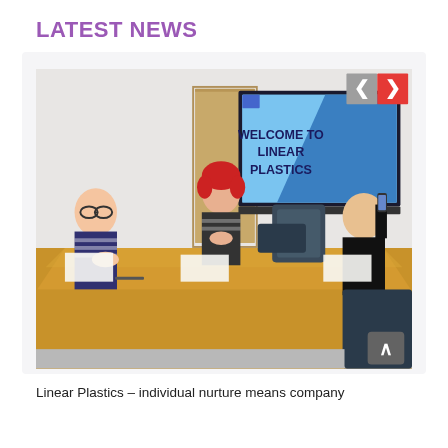LATEST NEWS
[Figure (photo): A meeting room scene with three people seated around a large wooden conference table. A screen on the wall displays 'WELCOME TO LINEAR PLASTICS'. Navigation arrows (left/right) overlay the top-right corner of the image. A scroll-to-top button appears at the bottom right.]
Linear Plastics – individual nurture means company